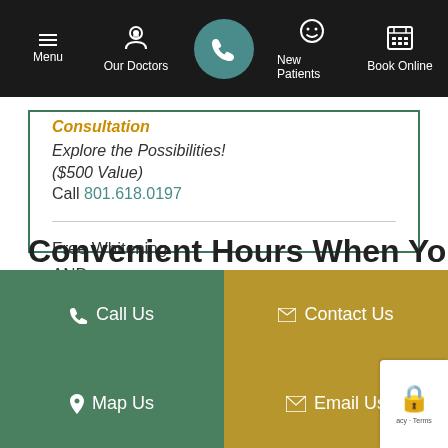Menu | Our Doctors | [Call] | New Patients | Book Online
Consultation
Explore the Possibilities! ($500 Value)
Call 801.618.0197
Free Whitening AND Free Retainers (post treatment) ($857 value) Call 801.618.0197 Now!
Convenient Hours When You
Call Us | Contact Us | Map Us | Email Us